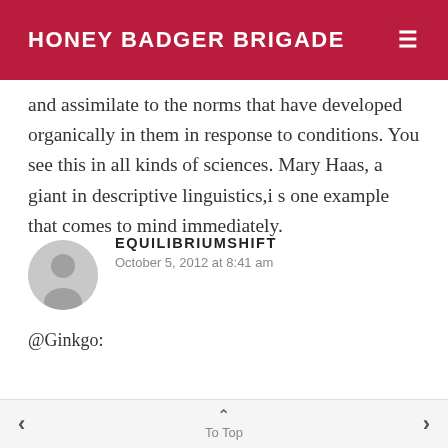HONEY BADGER BRIGADE
and assimilate to the norms that have developed organically in them in response to conditions. You see this in all kinds of sciences. Mary Haas, a giant in descriptive linguistics,i s one example that comes to mind immediately.
EQUILIBRIUMSHIFT
October 5, 2012 at 8:41 am
@Ginkgo:
To Top